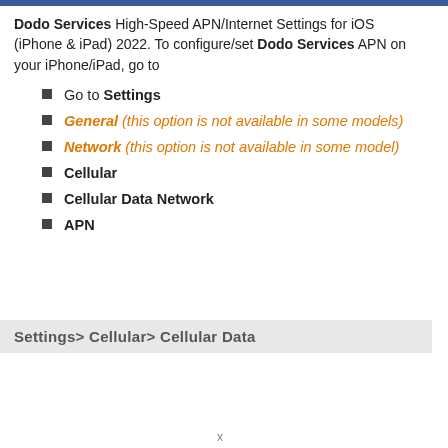Dodo Services High-Speed APN/Internet Settings for iOS (iPhone & iPad) 2022. To configure/set Dodo Services APN on your iPhone/iPad, go to
Go to Settings
General (this option is not available in some models)
Network (this option is not available in some model)
Cellular
Cellular Data Network
APN
Settings> Cellular> Cellular Data